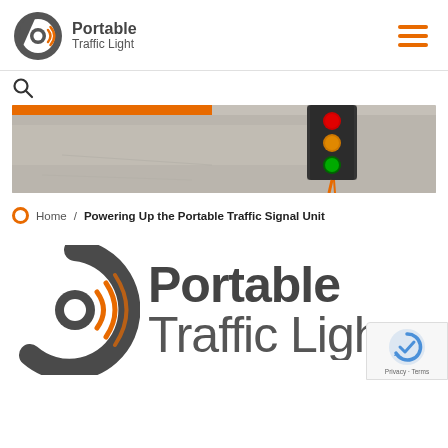[Figure (logo): Portable Traffic Light logo with circular signal icon and company name in header]
[Figure (photo): Aerial or top-down photo of a portable traffic signal/light unit hanging over a road surface with orange elements]
Home / Powering Up the Portable Traffic Signal Unit
[Figure (logo): Large Portable Traffic Light logo with circular signal icon in dark gray and orange, company name text]